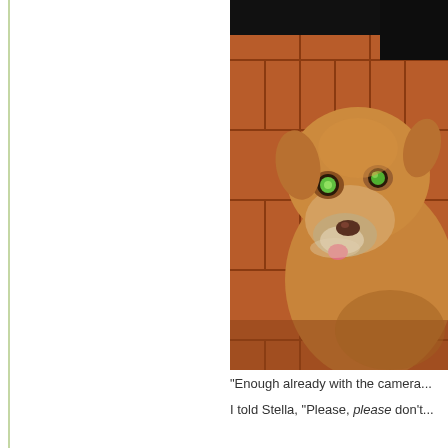[Figure (photo): A golden/yellow Labrador dog looking up at the camera with glowing green eyes (camera flash reflection), sitting on terracotta tile floor. The dog has a white muzzle and appears to be an older dog with its tongue slightly visible.]
“Enough already with the camera...
I told Stella, “Please, please don’t...